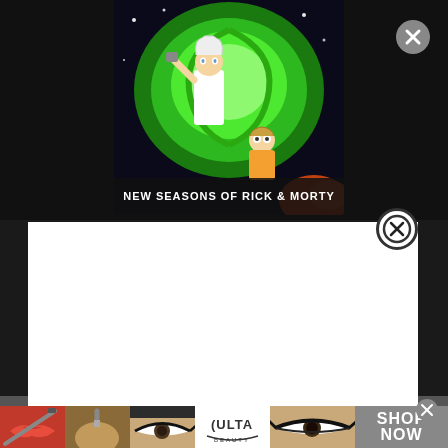[Figure (screenshot): Rick and Morty animated show advertisement banner showing Rick and Morty characters in front of a green portal with text 'NEW SEASONS OF RICK & MORTY' in white bold font]
[Figure (screenshot): White modal/lightbox overlay popup covering the main page content, shown as a blank white rectangle with a close button (X in circle) in the top right corner]
[Figure (screenshot): Ulta Beauty advertisement banner strip at bottom showing: lips with lipstick and brush, makeup brush, eye with dramatic makeup, Ulta Beauty logo, eyes with dramatic makeup, and SHOP NOW call to action text]